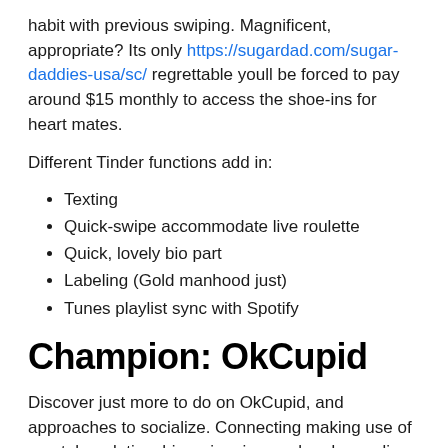habit with previous swiping. Magnificent, appropriate? Its only https://sugardad.com/sugar-daddies-usa/sc/ regrettable youll be forced to pay around $15 monthly to access the shoe-ins for heart mates.
Different Tinder functions add in:
Texting
Quick-swipe accommodate live roulette
Quick, lovely bio part
Labeling (Gold manhood just)
Tunes playlist sync with Spotify
Champion: OkCupid
Discover just more to do on OkCupid, and approaches to socialize. Connecting making use of mental a relationship swimming pool and spending time responding to fun questions and developing complete, total profiles is actually a much better manner of fast, relaxed romance enabling